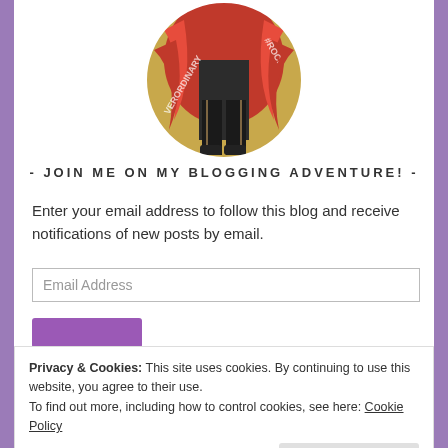[Figure (photo): Circular profile photo of a person with bright red hair, wearing dark patterned pants and sneakers, standing in front of a gold mural with text '#ROCKETM...' and 'VERORDINARY']
- JOIN ME ON MY BLOGGING ADVENTURE! -
Enter your email address to follow this blog and receive notifications of new posts by email.
Email Address
Privacy & Cookies: This site uses cookies. By continuing to use this website, you agree to their use.
To find out more, including how to control cookies, see here: Cookie Policy
Close and accept